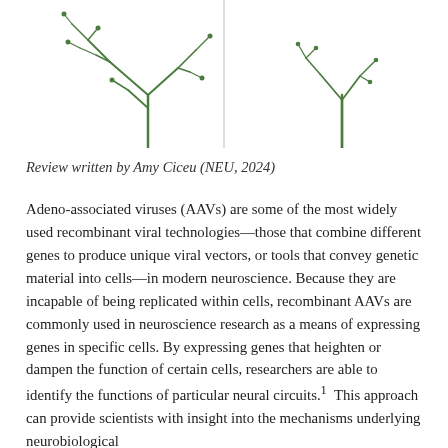[Figure (illustration): Two dendrite illustrations side by side. Left: a larger green branching dendrite tree labeled 'Average quantity of Sholl intersections'. Right: a smaller green branching dendrite tree labeled 'Reduced quantity of Sholl intersections'. A vertical line divides the two panels.]
Review written by Amy Ciceu (NEU, 2024)
Adeno-associated viruses (AAVs) are some of the most widely used recombinant viral technologies—those that combine different genes to produce unique viral vectors, or tools that convey genetic material into cells—in modern neuroscience. Because they are incapable of being replicated within cells, recombinant AAVs are commonly used in neuroscience research as a means of expressing genes in specific cells. By expressing genes that heighten or dampen the function of certain cells, researchers are able to identify the functions of particular neural circuits.¹ This approach can provide scientists with insight into the mechanisms underlying neurobiological